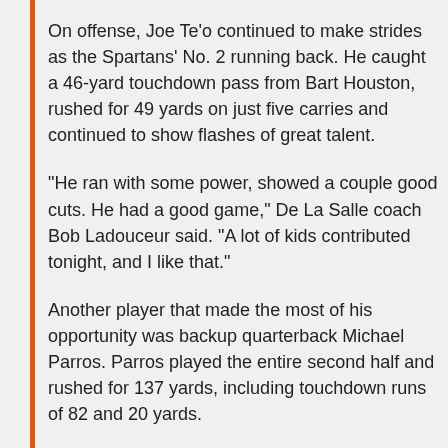On offense, Joe Te'o continued to make strides as the Spartans' No. 2 running back. He caught a 46-yard touchdown pass from Bart Houston, rushed for 49 yards on just five carries and continued to show flashes of great talent.
"He ran with some power, showed a couple good cuts. He had a good game," De La Salle coach Bob Ladouceur said. "A lot of kids contributed tonight, and I like that."
Another player that made the most of his opportunity was backup quarterback Michael Parros. Parros played the entire second half and rushed for 137 yards, including touchdown runs of 82 and 20 yards.
The Spartans defensive secondary also continued